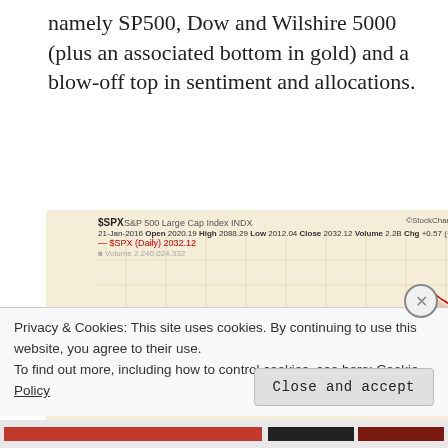namely SP500, Dow and Wilshire 5000 (plus an associated bottom in gold) and a blow-off top in sentiment and allocations.
[Figure (continuous-plot): StockCharts.com chart of $SPX S&P 500 Large Cap Index. Date: 21-Jan-2016. Open 2020.19, High 2088.29, Low 2012.04, Close 2032.12, Volume 2.2B, Chg +0.57 (+0.49%). Shows daily price line chart (red/black) from Feb 2014 to Jan 2015/2016 with volume bars at bottom. Price range approximately 1600 to 2100. Red dotted vertical line at far right. Labeled close price 2032.12. Y-axis shows values 1600-2100. X-axis shows months Feb through Dec 2014 and 2015.]
Privacy & Cookies: This site uses cookies. By continuing to use this website, you agree to their use.
To find out more, including how to control cookies, see here: Cookie Policy
Close and accept